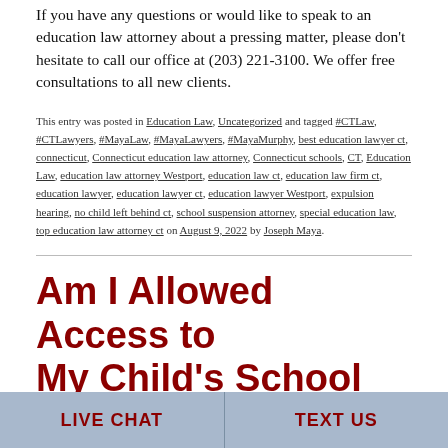If you have any questions or would like to speak to an education law attorney about a pressing matter, please don't hesitate to call our office at (203) 221-3100. We offer free consultations to all new clients.
This entry was posted in Education Law, Uncategorized and tagged #CTLaw, #CTLawyers, #MayaLaw, #MayaLawyers, #MayaMurphy, best education lawyer ct, connecticut, Connecticut education law attorney, Connecticut schools, CT, Education Law, education law attorney Westport, education law ct, education law firm ct, education lawyer, education lawyer ct, education lawyer Westport, expulsion hearing, no child left behind ct, school suspension attorney, special education law, top education law attorney ct on August 9, 2022 by Joseph Maya.
Am I Allowed Access to My Child's School
LIVE CHAT   TEXT US